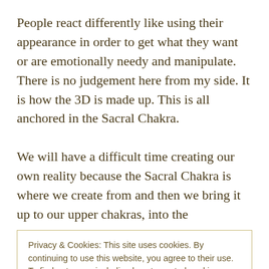People react differently like using their appearance in order to get what they want or are emotionally needy and manipulate.  There is no judgement here from my side. It is how the 3D is made up. This is all anchored in the Sacral Chakra.

We will have a difficult time creating our own reality because the Sacral Chakra is where we create from and then we bring it up to our upper chakras, into the
Privacy & Cookies: This site uses cookies. By continuing to use this website, you agree to their use.
To find out more, including how to control cookies, see here:
Cookie Policy
Close and accept
Through different experiences we had in our